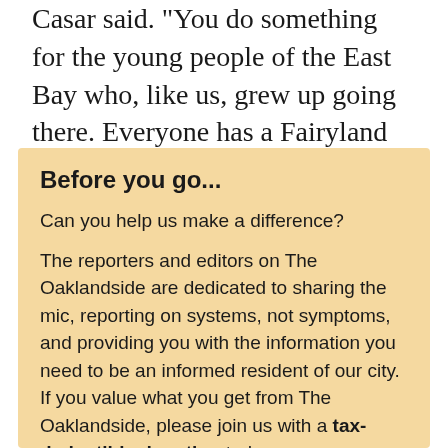Casar said. "You do something for the young people of the East Bay who, like us, grew up going there. Everyone has a Fairyland story."
Before you go...
Can you help us make a difference?
The reporters and editors on The Oaklandside are dedicated to sharing the mic, reporting on systems, not symptoms, and providing you with the information you need to be an informed resident of our city. If you value what you get from The Oaklandside, please join us with a tax-deductible donation today so we can continue doing the local reporting that